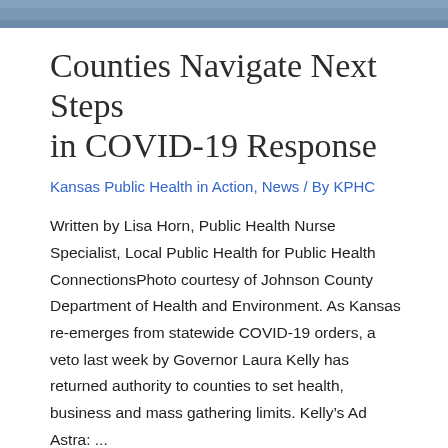[Figure (photo): Top banner photo showing people, cropped at top of page]
Counties Navigate Next Steps in COVID-19 Response
Kansas Public Health in Action, News / By KPHC
Written by Lisa Horn, Public Health Nurse Specialist, Local Public Health for Public Health ConnectionsPhoto courtesy of Johnson County Department of Health and Environment. As Kansas re-emerges from statewide COVID-19 orders, a veto last week by Governor Laura Kelly has returned authority to counties to set health, business and mass gathering limits. Kelly’s Ad Astra: ...
Read More »
[Figure (photo): Bottom photo showing a person with white/grey hair against dark background, cropped at bottom of page]